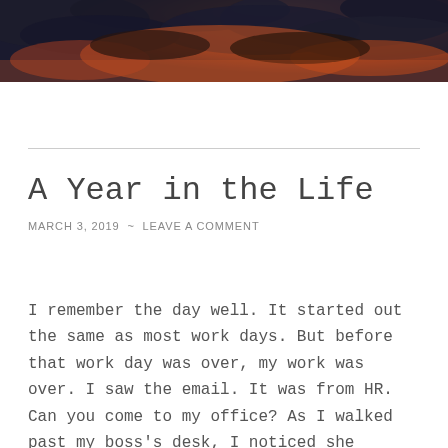[Figure (photo): Dramatic sky with dark storm clouds and orange/red sunset tones, partial image visible at top of page]
A Year in the Life
MARCH 3, 2019  ~  LEAVE A COMMENT
I remember the day well. It started out the same as most work days. But before that work day was over, my work was over. I saw the email. It was from HR. Can you come to my office? As I walked past my boss's desk, I noticed she wasn't there. Red flags sprang up all around me. I knew what I didn't want to know. My job was over.